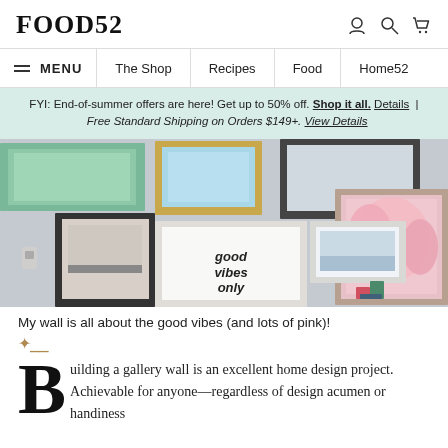FOOD52
≡ MENU  The Shop  Recipes  Food  Home52
FYI: End-of-summer offers are here! Get up to 50% off. Shop it all. Details | Free Standard Shipping on Orders $149+. View Details
[Figure (photo): Gallery wall with multiple framed artworks including a 'good vibes only' print, pink floral art, abstract blue art, and other framed pieces on a light gray wall.]
My wall is all about the good vibes (and lots of pink)!
Building a gallery wall is an excellent home design project. Achievable for anyone—regardless of design acumen or handiness